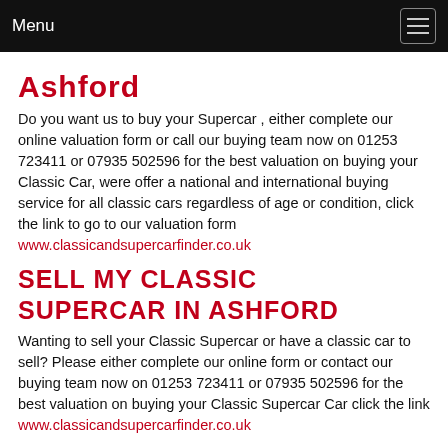Menu
Ashford
Do you want us to buy your Supercar , either complete our online valuation form or call our buying team now on 01253 723411 or 07935 502596 for the best valuation on buying your Classic Car, were offer a national and international buying service for all classic cars regardless of age or condition, click the link to go to our valuation form www.classicandsupercarfinder.co.uk
Sell my classic supercar in Ashford
Wanting to sell your Classic Supercar or have a classic car to sell? Please either complete our online form or contact our buying team now on 01253 723411 or 07935 502596 for the best valuation on buying your Classic Supercar Car click the link www.classicandsupercarfinder.co.uk